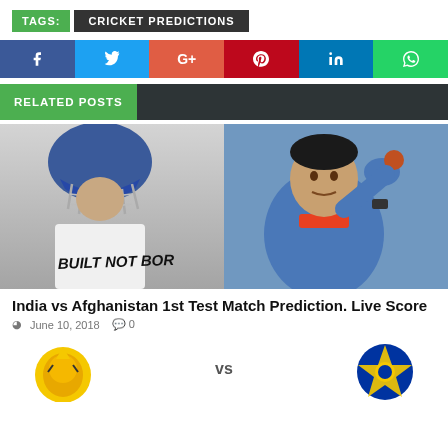TAGS:  CRICKET PREDICTIONS
[Figure (infographic): Social media share buttons: Facebook, Twitter, Google+, Pinterest, LinkedIn, WhatsApp]
RELATED POSTS
[Figure (photo): India vs Afghanistan cricket match - batsman in helmet on left, bowler on right, shirt reading BUILT NOT BORN]
India vs Afghanistan 1st Test Match Prediction. Live Score
June 10, 2018  0
[Figure (logo): Two cricket team logos with VS between them at bottom of page]